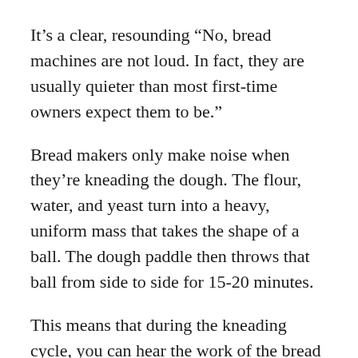It’s a clear, resounding “No, bread machines are not loud. In fact, they are usually quieter than most first-time owners expect them to be.”
Bread makers only make noise when they’re kneading the dough. The flour, water, and yeast turn into a heavy, uniform mass that takes the shape of a ball. The dough paddle then throws that ball from side to side for 15-20 minutes.
This means that during the kneading cycle, you can hear the work of the bread maker when the motor turns the paddle and the dough bounces against the walls of the pan.